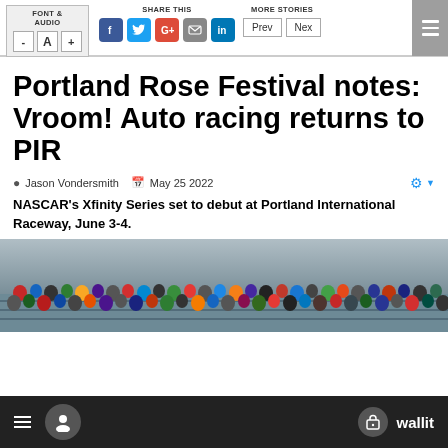FONT & AUDIO | SHARE THIS | MORE STORIES | Prev | Next
Portland Rose Festival notes: Vroom! Auto racing returns to PIR
Jason Vondersmith   May 25 2022
NASCAR's Xfinity Series set to debut at Portland International Raceway, June 3-4.
[Figure (photo): Crowd of spectators in bleachers at a racing event]
wallit